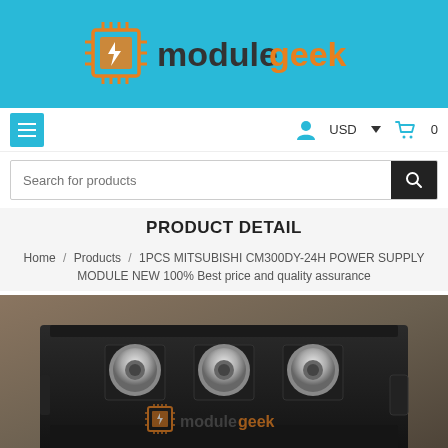[Figure (logo): ModuleGeek logo: orange IC chip icon with lightning bolt, followed by 'module' in dark gray and 'geek' in orange text, on a cyan/blue background]
Navigation bar with hamburger menu (left), user icon, USD currency selector, and cart (0 items) on right
Search for products
PRODUCT DETAIL
Home / Products / 1PCS MITSUBISHI CM300DY-24H POWER SUPPLY MODULE NEW 100% Best price and quality assurance
[Figure (photo): Close-up photo of a Mitsubishi CM300DY-24H power supply module, showing a black module with three large silver terminal bolts on top, with a ModuleGeek watermark logo overlaid in the center]